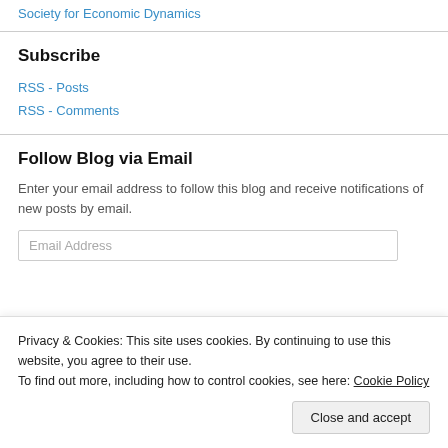Society for Economic Dynamics
Subscribe
RSS - Posts
RSS - Comments
Follow Blog via Email
Enter your email address to follow this blog and receive notifications of new posts by email.
Email Address
Privacy & Cookies: This site uses cookies. By continuing to use this website, you agree to their use.
To find out more, including how to control cookies, see here: Cookie Policy
Close and accept